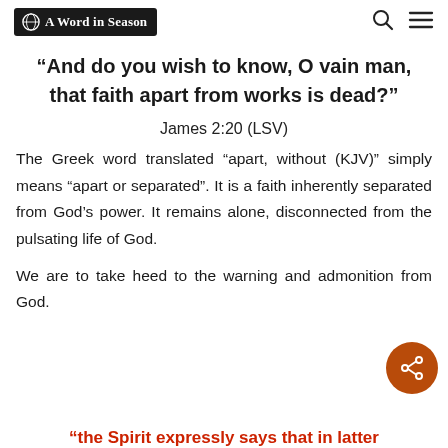A Word in Season
“And do you wish to know, O vain man, that faith apart from works is dead?”
James 2:20 (LSV)
The Greek word translated “apart, without (KJV)” simply means “apart or separated”. It is a faith inherently separated from God’s power. It remains alone, disconnected from the pulsating life of God.
We are to take heed to the warning and admonition from God.
“the Spirit expressly says that in latter